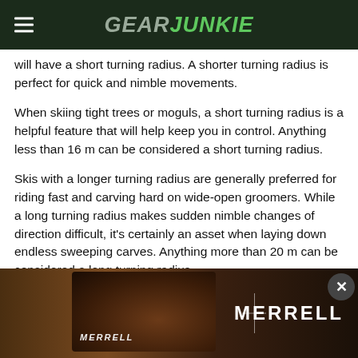GEAR JUNKIE
will have a short turning radius. A shorter turning radius is perfect for quick and nimble movements.
When skiing tight trees or moguls, a short turning radius is a helpful feature that will help keep you in control. Anything less than 16 m can be considered a short turning radius.
Skis with a longer turning radius are generally preferred for riding fast and carving hard on wide-open groomers. While a long turning radius makes sudden nimble changes of direction difficult, it's certainly an asset when laying down endless sweeping carves. Anything more than 20 m can be considered a long turning radius.
Many all-mountain skis have an all-around turning radius somewhere between 16 m and 20 m. While a ski's sidecut does partially define its personality, it won't tell you
[Figure (photo): Merrell shoe advertisement banner at the bottom of the page showing running shoes with MERRELL branding and a close button]